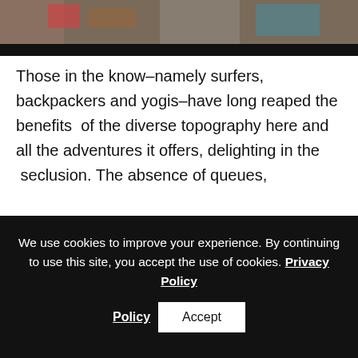[Figure (photo): Partial view of a crowded scene, photo strip at top of page with dark bar at bottom]
Those in the know–namely surfers, backpackers and yogis–have long reaped the benefits of the diverse topography here and all the adventures it offers, delighting in the seclusion. The absence of queues,
We use cookies to improve your experience. By continuing to use this site, you accept the use of cookies. Privacy Policy
Wild beaches, surfing the big swells of the Pacific coast or mountain biking and hiking active volcanoes and plunging into crater lakes. If these sound too sedate, how about kayaking on Lake Nicaragua, home to the